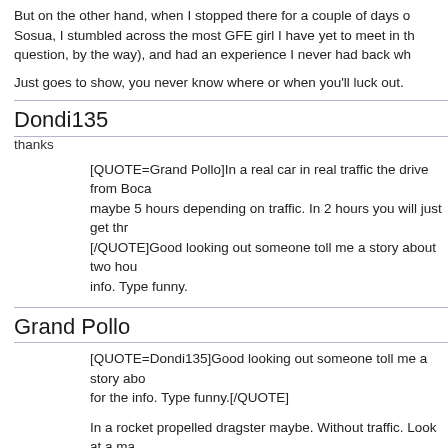But on the other hand, when I stopped there for a couple of days on my way back to Sosua, I stumbled across the most GFE girl I have yet to meet in the DR (and I'm not even talking about the girl in question, by the way), and had an experience I never had back wh...
Just goes to show, you never know where or when you'll luck out.
Dondi135
thanks
[QUOTE=Grand Pollo]In a real car in real traffic the drive from Boca maybe 5 hours depending on traffic. In 2 hours you will just get thr... [/QUOTE]Good looking out someone toll me a story about two hou... info. Type funny.
Grand Pollo
[QUOTE=Dondi135]Good looking out someone toll me a story abo... for the info. Type funny.[/QUOTE]
In a rocket propelled dragster maybe. Without traffic. Look at a ma... Chica are in the centre of the south shore. Sosua on the north sho... way from the capital and they know what they are doing. A/C, snac...